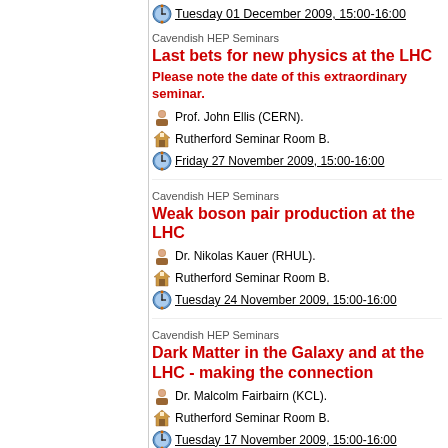Tuesday 01 December 2009, 15:00-16:00
Cavendish HEP Seminars
Last bets for new physics at the LHC
Please note the date of this extraordinary seminar.
Prof. John Ellis (CERN).
Rutherford Seminar Room B.
Friday 27 November 2009, 15:00-16:00
Cavendish HEP Seminars
Weak boson pair production at the LHC
Dr. Nikolas Kauer (RHUL).
Rutherford Seminar Room B.
Tuesday 24 November 2009, 15:00-16:00
Cavendish HEP Seminars
Dark Matter in the Galaxy and at the LHC - making the connection
Dr. Malcolm Fairbairn (KCL).
Rutherford Seminar Room B.
Tuesday 17 November 2009, 15:00-16:00
Cavendish HEP Seminars
First Data with the Atlas Experiment